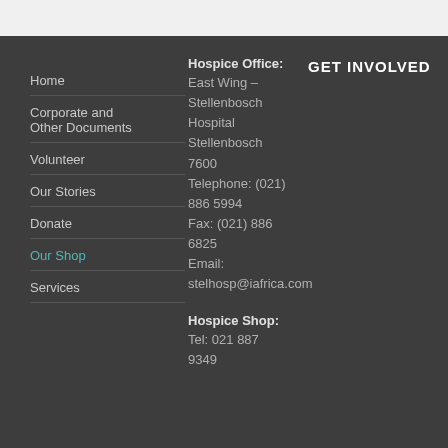Home
Corporate and Other Documents
Volunteer
Our Stories
Donate
Our Shop
Services
Hospice Office: East Wing – Stellenbosch Hospital Stellenbosch 7600 Telephone: (021) 886 5994 Fax: (021) 886 6825 Email: stelhosp@iafrica.com
Hospice Shop: Tel: 021 887 9349
GET INVOLVED